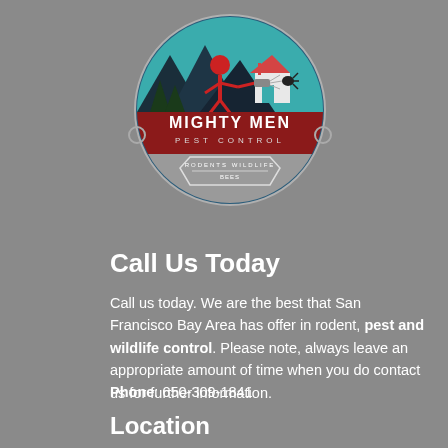[Figure (logo): Mighty Men Pest Control circular logo with teal and dark blue mountain/tree background, pest control technician figure, red banner with company name, and text 'RODENTS WILDLIFE BEES']
Call Us Today
Call us today. We are the best that San Francisco Bay Area has offer in rodent, pest and wildlife control. Please note, always leave an appropriate amount of time when you do contact us for further information.
Phone: 650-309-1841
Location
Mighty Men Pest Control
831 E 2nd St #101